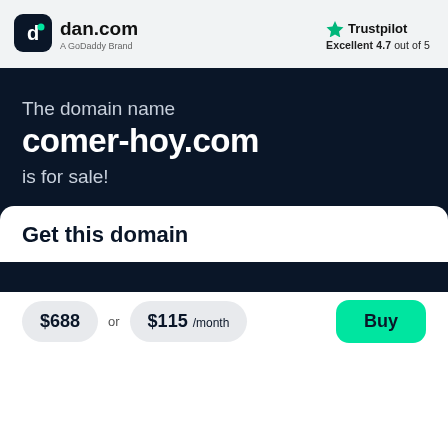[Figure (logo): dan.com logo with dark rounded square icon containing a stylized 'd' letter]
dan.com
A GoDoddy Brand
[Figure (logo): Trustpilot logo with green star icon]
Trustpilot
Excellent 4.7 out of 5
The domain name comer-hoy.com is for sale!
Get this domain
$688 or $115 /month
Buy